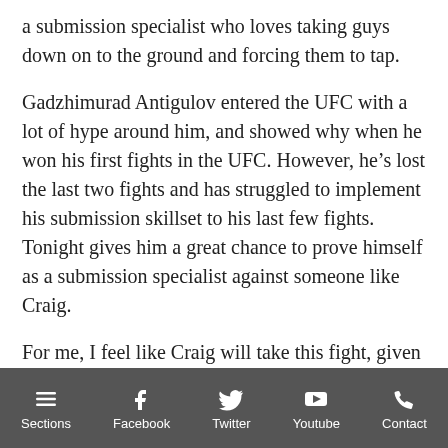a submission specialist who loves taking guys down on to the ground and forcing them to tap.
Gadzhimurad Antigulov entered the UFC with a lot of hype around him, and showed why when he won his first fights in the UFC. However, he’s lost the last two fights and has struggled to implement his submission skillset to his last few fights. Tonight gives him a great chance to prove himself as a submission specialist against someone like Craig.
For me, I feel like Craig will take this fight, given he has the momentum heading into the fight and has shown a better quality of fighting at this level in the UFC, compared to Antigulov.
#7 Carla Esparza vs #9 Marina Rodriguez – Women’s Strawweight Bout
Sections | Facebook | Twitter | Youtube | Contact